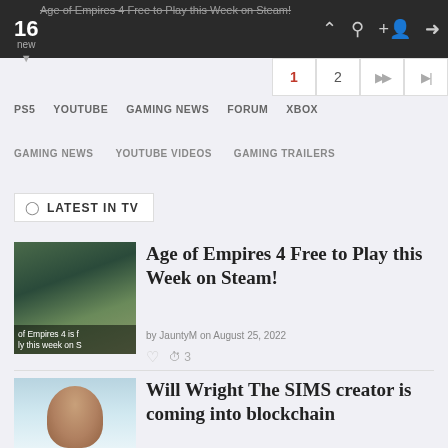16 new | Age of Empires 4 Free to Play this Week on Steam!
PS5  YOUTUBE  GAMING NEWS  FORUM  XBOX
GAMING NEWS  YOUTUBE VIDEOS  GAMING TRAILERS
LATEST IN TV
Age of Empires 4 Free to Play this Week on Steam!
by JauntyM on August 25, 2022
♥  👁 3
[Figure (photo): Age of Empires 4 game screenshot thumbnail]
Will Wright The SIMS creator is coming into blockchain
[Figure (photo): Photo of Will Wright]